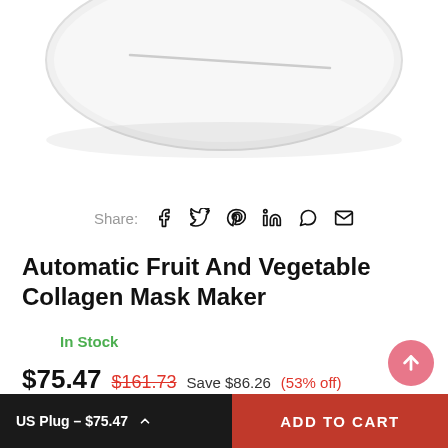[Figure (photo): White circular device (Automatic Fruit And Vegetable Collagen Mask Maker) shown from above, partially cropped at top]
Share: [facebook] [twitter] [pinterest] [linkedin] [whatsapp] [email]
Automatic Fruit And Vegetable Collagen Mask Maker
In Stock
$75.47  $161.73  Save $86.26  (53% off)
US Plug – $75.47  ADD TO CART